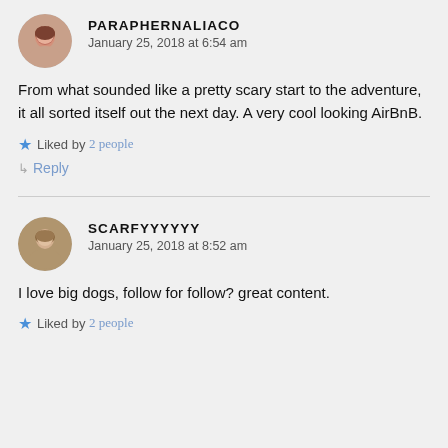[Figure (illustration): Circular avatar of a woman with brown hair]
PARAPHERNALIACO
January 25, 2018 at 6:54 am
From what sounded like a pretty scary start to the adventure, it all sorted itself out the next day. A very cool looking AirBnB.
Liked by 2 people
Reply
[Figure (illustration): Circular avatar of a young man with light brown hair]
SCARFYYYYYY
January 25, 2018 at 8:52 am
I love big dogs, follow for follow? great content.
Liked by 2 people